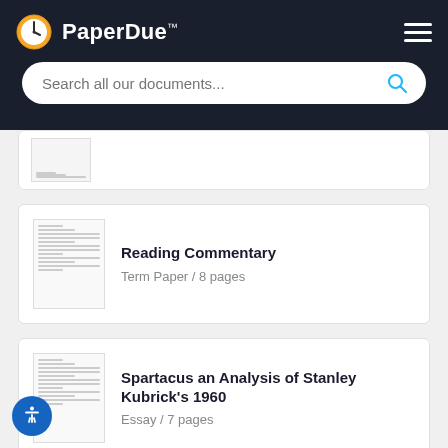PaperDue™
Search all our documents...
Reading Commentary
Term Paper / 8 pages
Spartacus an Analysis of Stanley Kubrick's 1960
Essay / 7 pages